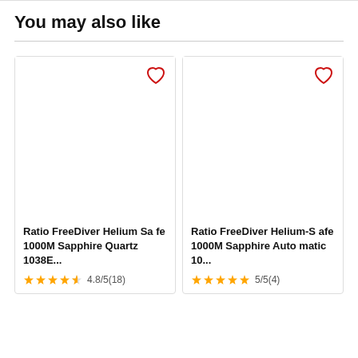You may also like
[Figure (screenshot): Product card: Ratio FreeDiver Helium Safe 1000M Sapphire Quartz 1038E... with heart icon, rating 4.8/5(18)]
[Figure (screenshot): Product card: Ratio FreeDiver Helium-Safe 1000M Sapphire Automatic 10... with heart icon, rating 5/5(4)]